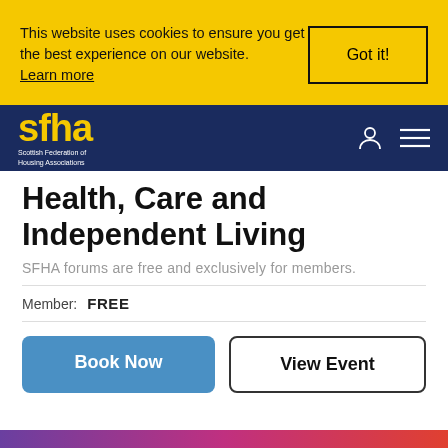This website uses cookies to ensure you get the best experience on our website. Learn more
Got it!
[Figure (logo): SFHA - Scottish Federation of Housing Associations logo in yellow text on dark blue background]
Health, Care and Independent Living
SFHA forums are free and exclusively for members.
Member:  FREE
Book Now
View Event